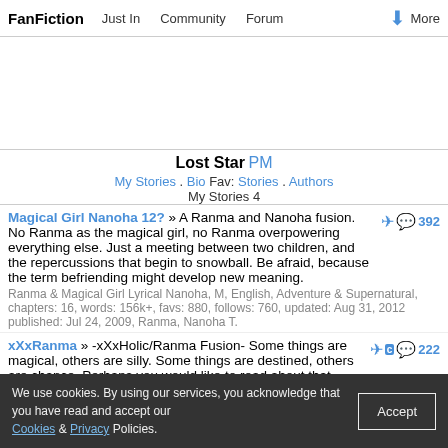FanFiction   Just In   Community   Forum   More
Lost Star PM
My Stories . Bio Fav: Stories . Authors
My Stories 4
Magical Girl Nanoha 12? » A Ranma and Nanoha fusion. No Ranma as the magical girl, no Ranma overpowering everything else. Just a meeting between two children, and the repercussions that begin to snowball. Be afraid, because the term befriending might develop new meaning.
Ranma & Magical Girl Lyrical Nanoha, M, English, Adventure & Supernatural, chapters: 16, words: 156k+, favs: 880, follows: 760, updated: Aug 31, 2012 published: Jul 24, 2009, Ranma, Nanoha T.
xXxRanma » -xXxHolic/Ranma Fusion- Some things are magical, others are silly. Some things are destined, others are chance. Perhaps you would like to read about that divide? Feel free. Do be kind enough to give an opinion of it, at the very least.
Ranma & xxxHOLiC, M, English, Humor & Romance, chapters: 31, words:
We use cookies. By using our services, you acknowledge that you have read and accept our Cookies & Privacy Policies.